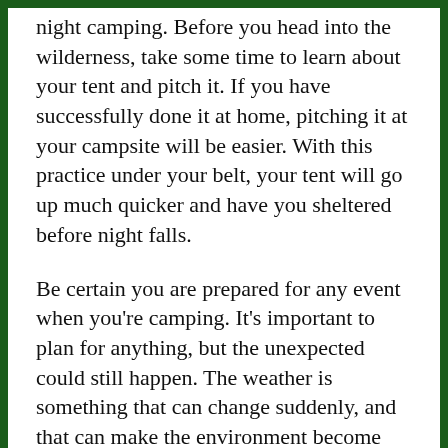night camping. Before you head into the wilderness, take some time to learn about your tent and pitch it. If you have successfully done it at home, pitching it at your campsite will be easier. With this practice under your belt, your tent will go up much quicker and have you sheltered before night falls.
Be certain you are prepared for any event when you're camping. It's important to plan for anything, but the unexpected could still happen. The weather is something that can change suddenly, and that can make the environment become more dangerous. Always avoid unnecessary risks and try not to be careless.
Surprisingly, orange peels make a great mosquito repellent on outdoor adventures. This can be used if you have forgotten your insect repellant. Just rub the inner peel of an orange on your skin for a